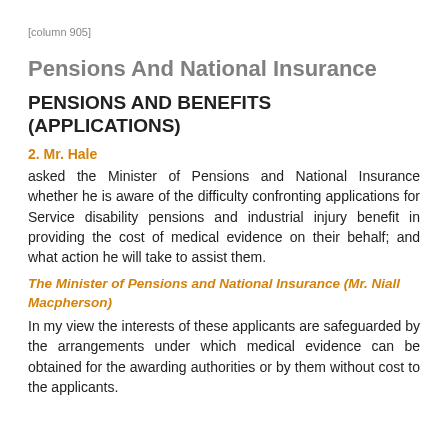[column 905]
Pensions And National Insurance
PENSIONS AND BENEFITS (APPLICATIONS)
2. Mr. Hale
asked the Minister of Pensions and National Insurance whether he is aware of the difficulty confronting applications for Service disability pensions and industrial injury benefit in providing the cost of medical evidence on their behalf; and what action he will take to assist them.
The Minister of Pensions and National Insurance (Mr. Niall Macpherson)
In my view the interests of these applicants are safeguarded by the arrangements under which medical evidence can be obtained for the awarding authorities or by them without cost to the applicants.